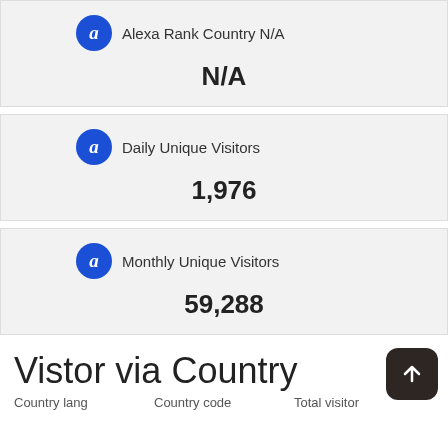Alexa Rank Country N/A
N/A
Daily Unique Visitors
1,976
Monthly Unique Visitors
59,288
Vistor via Country
Country lang    Country code    Total visitor